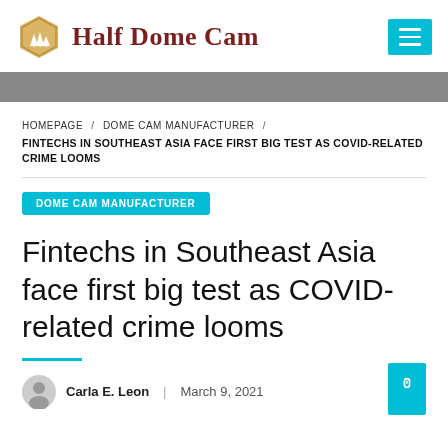Half Dome Cam
HOMEPAGE / DOME CAM MANUFACTURER / FINTECHS IN SOUTHEAST ASIA FACE FIRST BIG TEST AS COVID-RELATED CRIME LOOMS
DOME CAM MANUFACTURER
Fintechs in Southeast Asia face first big test as COVID-related crime looms
Carla E. Leon   March 9, 2021